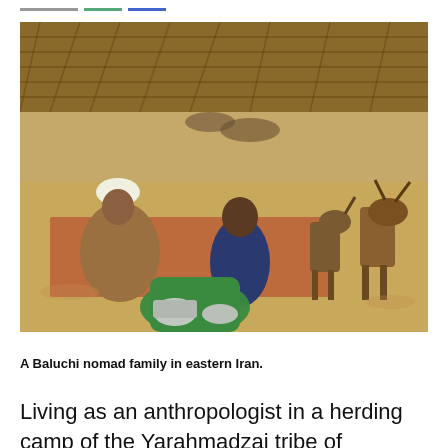[Figure (photo): A Baluchi nomad family in eastern Iran. An older man in white turban sits on a mat on sandy ground, a boy in dark clothing sits nearby, two goats stand on the right, and a woman in green dress crouches in the foreground. Woven reed shelter in background.]
A Baluchi nomad family in eastern Iran.
Living as an anthropologist in a herding camp of the Yarahmadzai tribe of nomadic pastoralists in the deserts of Iranian Baluchistan clarified some of the inhibitions to peace in the Middle East